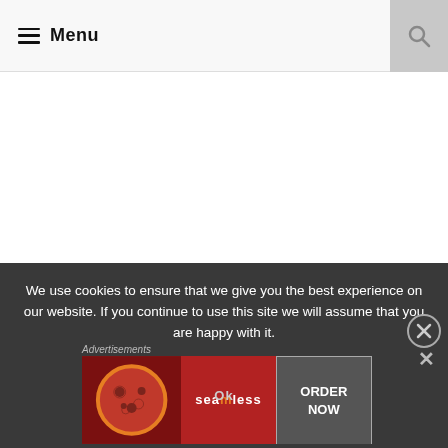Menu
We use cookies to ensure that we give you the best experience on our website. If you continue to use this site we will assume that you are happy with it.
Ok
Advertisements
[Figure (screenshot): Ad banner showing pizza image, Seamless logo, and ORDER NOW button]